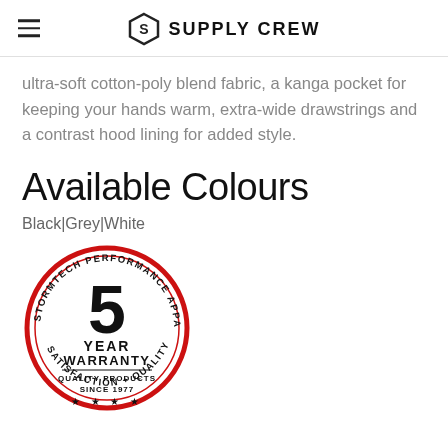SUPPLY CREW
ultra-soft cotton-poly blend fabric, a kanga pocket for keeping your hands warm, extra-wide drawstrings and a contrast hood lining for added style.
Available Colours
Black|Grey|White
[Figure (logo): Stormtech Performance Apparel 5 Year Warranty badge. Red circle border with text 'STORMTECH PERFORMANCE APPAREL' around the top and 'SATISFACTION + QUALITY' around the bottom. Inside: large '5' and 'YEAR WARRANTY' text, 'QUALITY PRODUCTS SINCE 1977', four stars.]